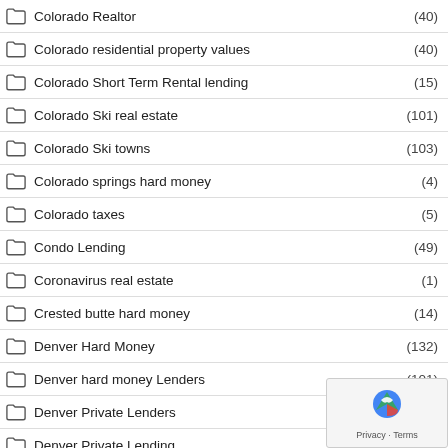Colorado Realtor (40)
Colorado residential property values (40)
Colorado Short Term Rental lending (15)
Colorado Ski real estate (101)
Colorado Ski towns (103)
Colorado springs hard money (4)
Colorado taxes (5)
Condo Lending (49)
Coronavirus real estate (1)
Crested butte hard money (14)
Denver Hard Money (132)
Denver hard money Lenders (101)
Denver Private Lenders
Denver Private Lending
[Figure (logo): reCAPTCHA privacy badge with Google logo and Privacy - Terms text]